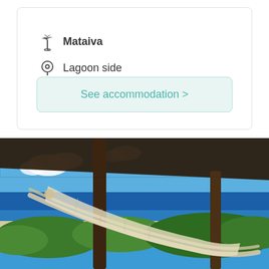Mataiva
Lagoon side
9 Room(s)
See accommodation >
[Figure (photo): View from a rustic wooden open-air pavilion with a rope hammock in the foreground, looking out over lush tropical greenery, a white sand beach, and a vivid blue lagoon/ocean under a partly cloudy sky.]